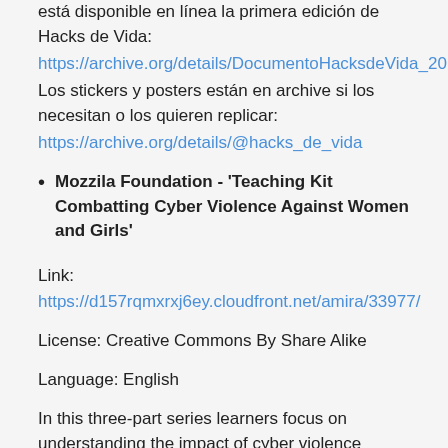está disponible en línea la primera edición de Hacks de Vida:
https://archive.org/details/DocumentoHacksdeVida_201
Los stickers y posters están en archive si los necesitan o los quieren replicar:
https://archive.org/details/@hacks_de_vida
Mozzila Foundation - 'Teaching Kit Combatting Cyber Violence Against Women and Girls'
Link:
https://d157rqmxrxj6ey.cloudfront.net/amira/33977/
License: Creative Commons By Share Alike
Language: English
In this three-part series learners focus on understanding the impact of cyber violence against women and girls, creating safer places online, knowing how to address